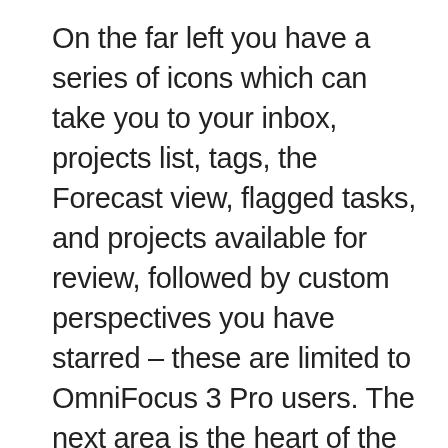On the far left you have a series of icons which can take you to your inbox, projects list, tags, the Forecast view, flagged tasks, and projects available for review, followed by custom perspectives you have starred – these are limited to OmniFocus 3 Pro users. The next area is the heart of the sidebar; depending on the area of OmniFocus you're in, what's shown in the sidebar will vary – for example, quite logically in the projects view you'll see a list of your projects, and in the tags view, you'll see all of your tags. These include any custom hierarchy you have set up, which is very useful. Perspectives will list tags or projects in this area of the sidebar too, depending on how you have set up your group by options. In the Forecast view you'll find a calendar view of the next month, where clicking each day will take you